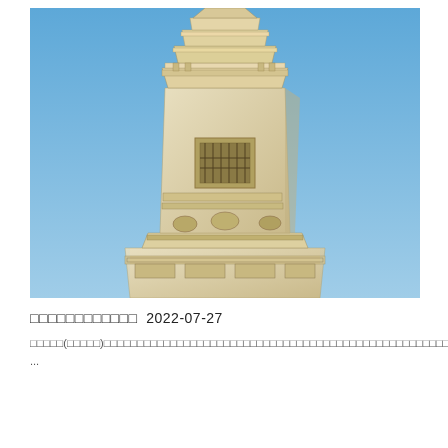[Figure (photo): Photograph of an ornate multi-tiered stone pagoda or stele tower against a clear blue sky. The structure is octagonal/polygonal with intricate carved decorations, recessed panels, and decorative brackets at the top.]
□□□□□□□□□□□□  2022-07-27
□□□□□(□□□□□)□□□□□□□□□□□□□□□□□□□□□□□□□□□□□□□□□□□□□□□□□□□□□□□□□□□□□□□□□□□□□□□□□□□□□□□□□□□□□□□□□□□□1988□□□□□□□□□□□□□□□□□□□□□□□□□□□□□□□□□□□□□□□□□□□□□□□□□8□□□□□□□□□□□□□□□2 ...